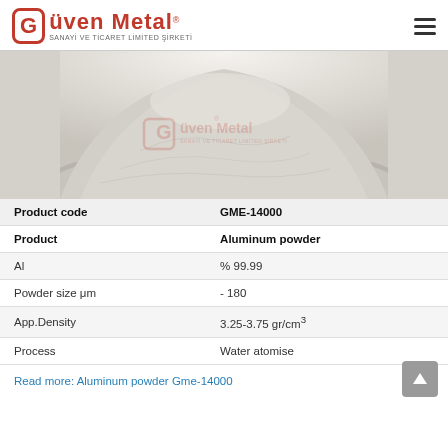Güven Metal Sanayi ve Ticaret Limited Şirketi
[Figure (photo): A pile of fine aluminum powder (light grey) on a white surface, with a Güven Metal watermark overlay.]
| Product code | GME-14000 |
| Product | Aluminum powder |
| Al | % 99.99 |
| Powder size μm | - 180 |
| App.Density | 3.25-3.75 gr/cm³ |
| Process | Water atomise |
Read more: Aluminum powder Gme-14000